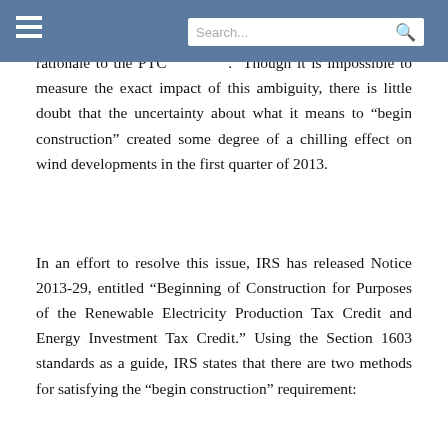Search...
requirement with the Section 1603 Grant program, there was no guarantee that the IRS would apply a similar rationale to the PTC extension. Though it is impossible to measure the exact impact of this ambiguity, there is little doubt that the uncertainty about what it means to “begin construction” created some degree of a chilling effect on wind developments in the first quarter of 2013.
In an effort to resolve this issue, IRS has released Notice 2013-29, entitled “Beginning of Construction for Purposes of the Renewable Electricity Production Tax Credit and Energy Investment Tax Credit.” Using the Section 1603 standards as a guide, IRS states that there are two methods for satisfying the “begin construction” requirement: